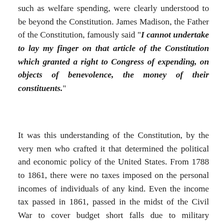such as welfare spending, were clearly understood to be beyond the Constitution. James Madison, the Father of the Constitution, famously said "I cannot undertake to lay my finger on that article of the Constitution which granted a right to Congress of expending, on objects of benevolence, the money of their constituents."
It was this understanding of the Constitution, by the very men who crafted it that determined the political and economic policy of the United States. From 1788 to 1861, there were no taxes imposed on the personal incomes of individuals of any kind. Even the income tax passed in 1861, passed in the midst of the Civil War to cover budget short falls due to military expenses, was short lived, facing fierce resistance, and was repealed in 1862